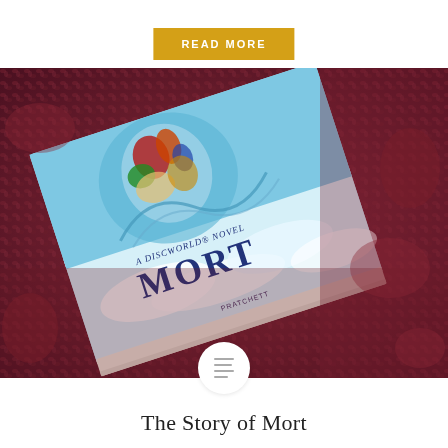READ MORE
[Figure (photo): A close-up photo of the book 'Mort: A Discworld Novel' lying on a dark reddish-maroon textured fabric background. The book cover shows colorful fantasy artwork and the title 'MORT' prominently displayed.]
[Figure (other): Hamburger menu icon in a white circle overlay at the bottom center of the photo]
The Story of Mort